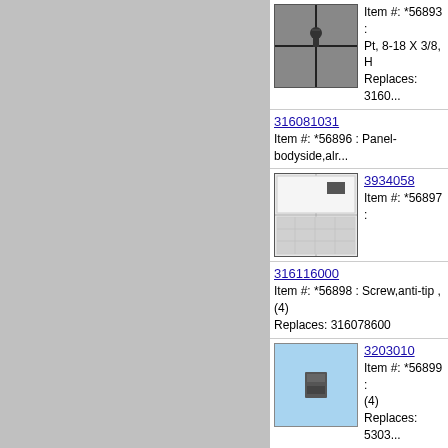[Figure (photo): Small screw part on grid background]
Item #: *56893 : Pt, 8-18 X 3/8, H
Replaces: 3160...
316081031
Item #: *56896 : Panel-bodyside,alr...
[Figure (photo): Metal panel part on grid background]
3934058
Item #: *56897 :
316116000
Item #: *56898 : Screw,anti-tip ,(4)
Replaces: 316078600
[Figure (photo): Small square metal bracket on blue background]
3203010
Item #: *56899 :
(4)
Replaces: 5303...
316064600
Item #: *56900 : Support,oven Botto...
08067961
Item #: *56901 : Fastener-power Co...
5303288570
Item #: *56902 : Screw-heat Shield...